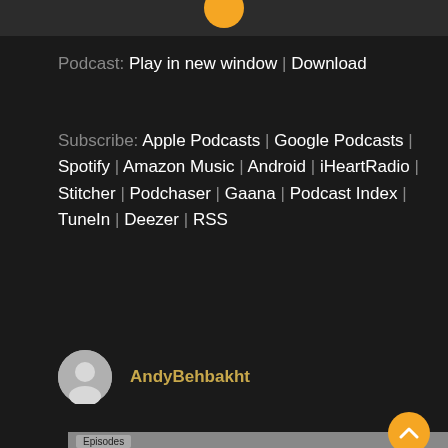[Figure (photo): Top strip with orange circle avatar at top]
Podcast: Play in new window | Download
Subscribe: Apple Podcasts | Google Podcasts | Spotify | Amazon Music | Android | iHeartRadio | Stitcher | Podchaser | Gaana | Podcast Index | TuneIn | Deezer | RSS
AndyBehbakht
[Figure (photo): Bottom section with Episodes badge and person photo]
Episodes